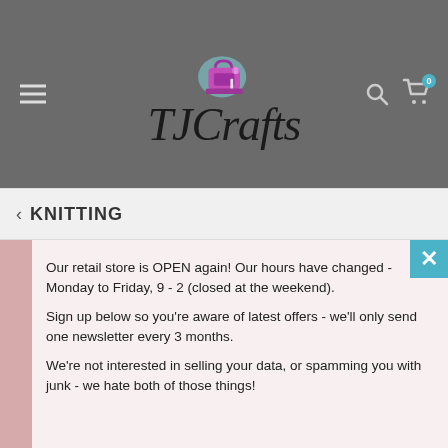[Figure (logo): TJCrafts website header with logo featuring a purple sewing machine icon and cursive TJCrafts text on a grey background with hamburger menu, search, and cart icons]
< KNITTING
Our retail store is OPEN again! Our hours have changed - Monday to Friday, 9 - 2 (closed at the weekend).
Sign up below so you're aware of latest offers - we'll only send one newsletter every 3 months.
We're not interested in selling your data, or spamming you with junk - we hate both of those things!